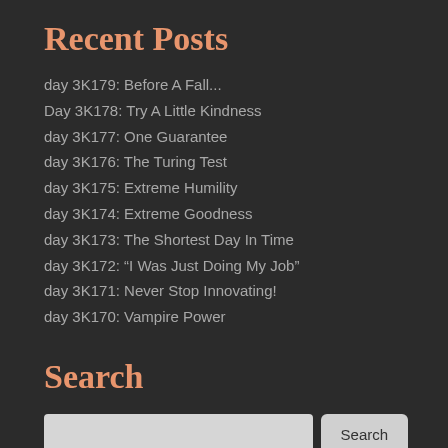Recent Posts
day 3K179: Before A Fall...
Day 3K178: Try A Little Kindness
day 3K177: One Guarantee
day 3K176: The Turing Test
day 3K175: Extreme Humility
day 3K174: Extreme Goodness
day 3K173: The Shortest Day In Time
day 3K172: “I Was Just Doing My Job”
day 3K171: Never Stop Innovating!
day 3K170: Vampire Power
Search